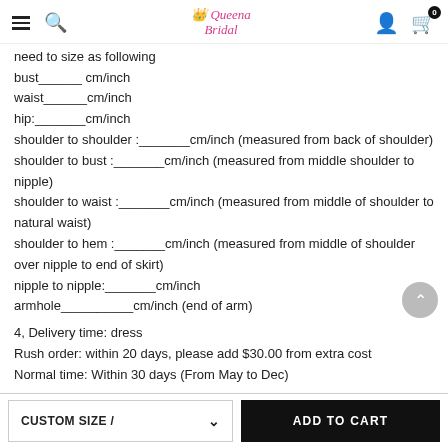Queena Bridal — navigation header with hamburger, search, logo, user, cart
need to size as following
bust______ cm/inch
waist______cm/inch
hip:_______cm/inch
shoulder to shoulder :_______cm/inch (measured from back of shoulder)
shoulder to bust :_______cm/inch (measured from middle shoulder to nipple)
shoulder to waist :_______cm/inch (measured from middle of shoulder to natural waist)
shoulder to hem :_______cm/inch (measured from middle of shoulder over nipple to end of skirt)
nipple to nipple:_______cm/inch
armhole__________cm/inch (end of arm)
4, Delivery time: dress
Rush order: within 20 days, please add $30.00 from extra cost
Normal time: Within 30 days (From May to Dec)